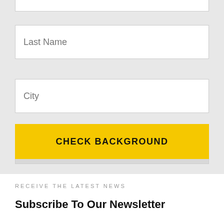[Figure (screenshot): Web form with input fields for Last Name, City, Select State dropdown, and a CHECK BACKGROUND button on a light gray background]
RECEIVE THE LATEST NEWS
Subscribe To Our Newsletter